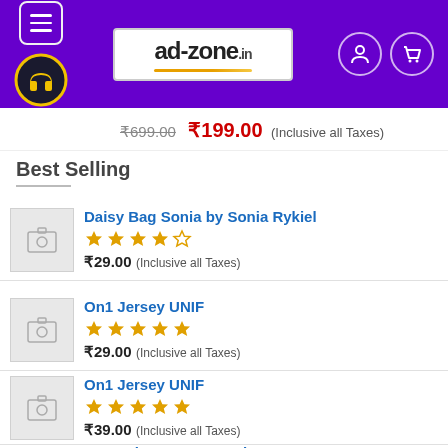ad-zone.in header with menu, logo, user and cart icons
₹699.00 ₹199.00 (Inclusive all Taxes)
Best Selling
Daisy Bag Sonia by Sonia Rykiel — 4 stars — ₹29.00 (Inclusive all Taxes)
On1 Jersey UNIF — 5 stars — ₹29.00 (Inclusive all Taxes)
On1 Jersey UNIF — 5 stars — ₹39.00 (Inclusive all Taxes)
Beyond Top NLY Trend